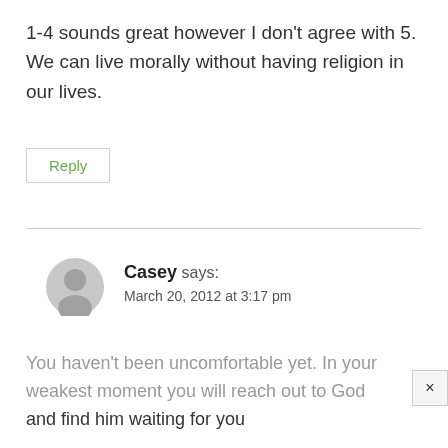1-4 sounds great however I don't agree with 5. We can live morally without having religion in our lives.
Reply
Casey says:
March 20, 2012 at 3:17 pm
You haven't been uncomfortable yet. In your weakest moment you will reach out to God and find him waiting for you